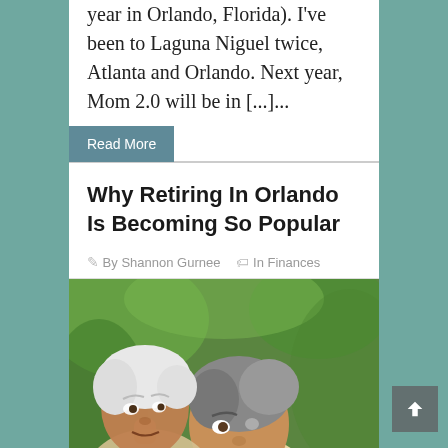year in Orlando, Florida). I've been to Laguna Niguel twice, Atlanta and Orlando. Next year, Mom 2.0 will be in [...]...
Read More
Why Retiring In Orlando Is Becoming So Popular
By Shannon Gurnee   In Finances
[Figure (photo): An elderly couple outdoors in a green garden setting; an older woman with gray hair in the foreground and an older man with white hair behind her.]